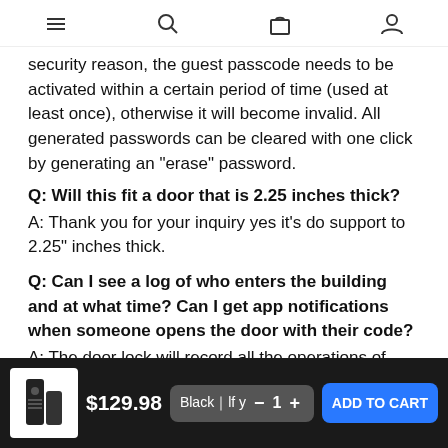[navigation bar with menu, search, cart, account icons]
security reason, the guest passcode needs to be activated within a certain period of time (used at least once), otherwise it will become invalid. All generated passwords can be cleared with one click by generating an "erase" password.
Q: Will this fit a door that is 2.25 inches thick?
A: Thank you for your inquiry yes it's do support to 2.25" inches thick.
Q: Can I see a log of who enters the building and at what time? Can I get app notifications when someone opens the door with their code?
A: The door lock will record all the operations of opening the door via APP or keyboard. But you need to be close to the door lock...
$129.98  Black｜lfy  — 1 +  ADD TO CART